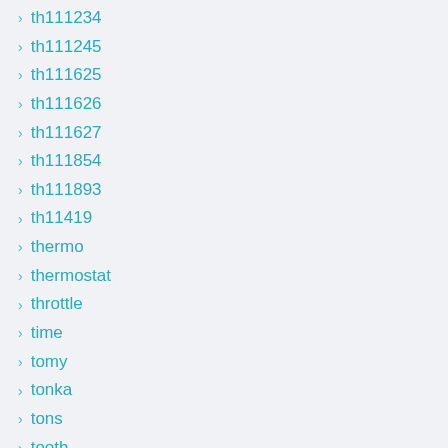th111234
th111245
th111625
th111626
th111627
th111854
th111893
th11419
thermo
thermostat
throttle
time
tomy
tonka
tons
tooth
toys
toys-meccano
trac